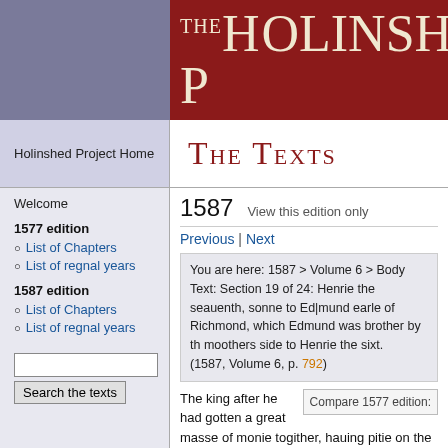THE HOLINSHED P
THE TEXTS
Holinshed Project Home
1587   View this edition only
Previous | Next
Welcome
1577 edition
List of Chapters
List of regnal years
1587 edition
List of Chapters
List of regnal years
You are here: 1587 > Volume 6 > Body Text: Section 19 of 24: Henrie the seauenth, sonne to Ed|mund earle of Richmond, which Edmund was brother by th moothers side to Henrie the sixt.
(1587, Volume 6, p. 792)
The king after he had gotten a great masse of monie togither, hauing pitie on the people, which oppressed with the sharp proceedings of his greedie officers, cried daily to God for vengeance, ment to ha depriued them of their offices (as some write) & that such monie as had beene violentlie exacted, should
Compare 1577 edition: